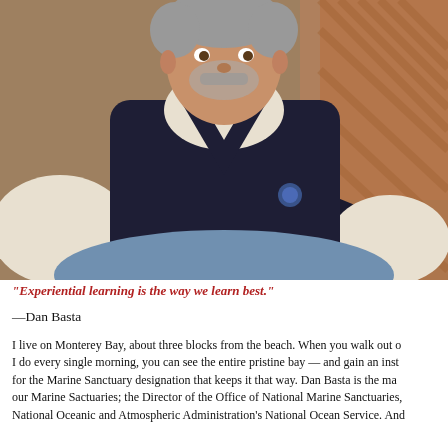[Figure (photo): Portrait photo of Dan Basta, a middle-aged man with gray hair and beard wearing a dark navy sweater vest over a white collared shirt, seated in a casual pose.]
"Experiential learning is the way we learn best."
—Dan Basta
I live on Monterey Bay, about three blocks from the beach. When you walk out on the pier, as I do every single morning, you can see the entire pristine bay — and gain an instant appreciation for the Marine Sanctuary designation that keeps it that way. Dan Basta is the man who manages our Marine Sactuaries; the Director of the Office of National Marine Sanctuaries, part of the National Oceanic and Atmospheric Administration's National Ocean Service. And...